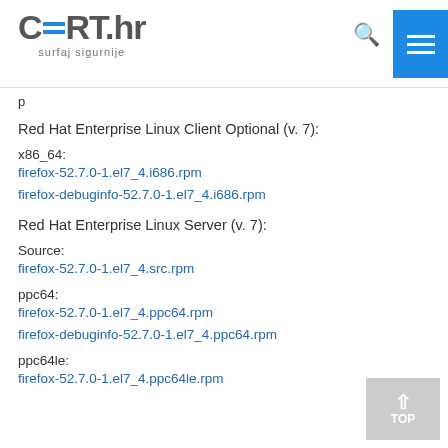CERT.hr surfaj sigurnije
Red Hat Enterprise Linux Client Optional (v. 7):
x86_64:
firefox-52.7.0-1.el7_4.i686.rpm
firefox-debuginfo-52.7.0-1.el7_4.i686.rpm
Red Hat Enterprise Linux Server (v. 7):
Source:
firefox-52.7.0-1.el7_4.src.rpm
ppc64:
firefox-52.7.0-1.el7_4.ppc64.rpm
firefox-debuginfo-52.7.0-1.el7_4.ppc64.rpm
ppc64le:
firefox-52.7.0-1.el7_4.ppc64le.rpm